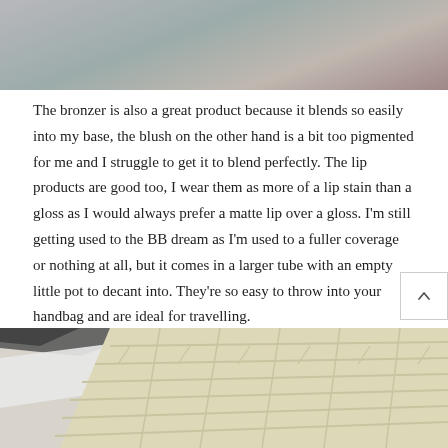[Figure (photo): Top portion of a lifestyle/fashion photo, showing blurred background with muted brown, grey and neutral tones — appears to be fabric or clothing texture.]
The bronzer is also a great product because it blends so easily into my base, the blush on the other hand is a bit too pigmented for me and I struggle to get it to blend perfectly. The lip products are good too, I wear them as more of a lip stain than a gloss as I would always prefer a matte lip over a gloss. I’m still getting used to the BB dream as I’m used to a fuller coverage or nothing at all, but it comes in a larger tube with an empty little pot to decant into. They’re so easy to throw into your handbag and are ideal for travelling.
To find out more about Trinny London, visit their site here.
[Figure (photo): Bottom portion of a lifestyle photo showing an angled view of a cream/beige brick wall with a dark ledge or railing in the upper-left area.]